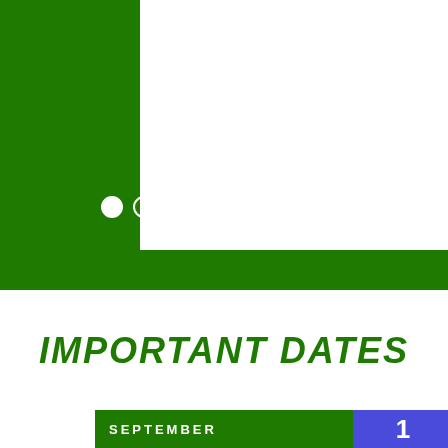[Figure (other): Green banner background with white rectangle inset and pagination dots]
IMPORTANT DATES
SEPTEMBER  1